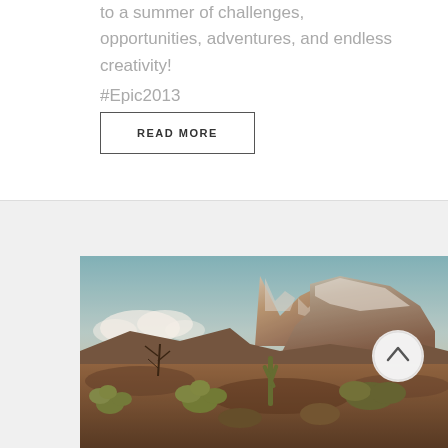to a summer of challenges, opportunities, adventures, and endless creativity!
#Epic2013
READ MORE
[Figure (photo): Desert landscape photograph showing rocky mountains with snow/frost, desert cacti and scrub brush in the foreground, and a sky with clouds in the background. Warm vintage color tone.]
[Figure (other): Circular scroll-to-top button with an upward arrow icon]